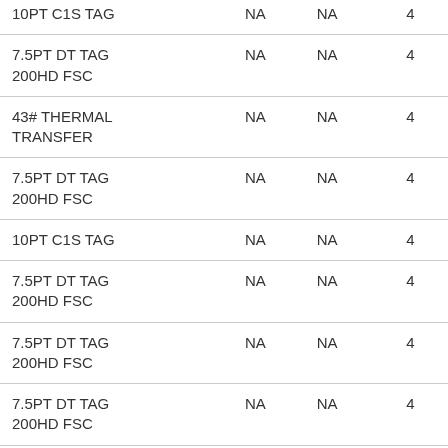| 10PT C1S TAG | NA | NA | 4 |
| 7.5PT DT TAG 200HD FSC | NA | NA | 4 |
| 43# THERMAL TRANSFER | NA | NA | 4 |
| 7.5PT DT TAG 200HD FSC | NA | NA | 4 |
| 10PT C1S TAG | NA | NA | 4 |
| 7.5PT DT TAG 200HD FSC | NA | NA | 4 |
| 7.5PT DT TAG 200HD FSC | NA | NA | 4 |
| 7.5PT DT TAG 200HD FSC | NA | NA | 4 |